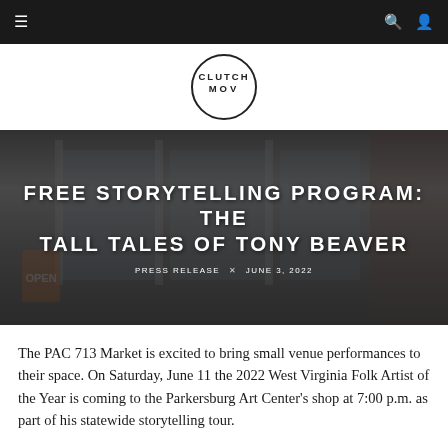Navigation bar with hamburger menu, search and user icons
[Figure (logo): ClutchMOV circular logo with text CLUTCH MOV inside a circle]
[Figure (photo): Storefront photo with dark overlay showing a shop with glass doors and brick exterior]
FREE STORYTELLING PROGRAM: THE TALL TALES OF TONY BEAVER
PRESS RELEASE × JUNE 3, 2022
The PAC 713 Market is excited to bring small venue performances to their space. On Saturday, June 11 the 2022 West Virginia Folk Artist of the Year is coming to the Parkersburg Art Center's shop at 7:00 p.m. as part of his statewide storytelling tour.